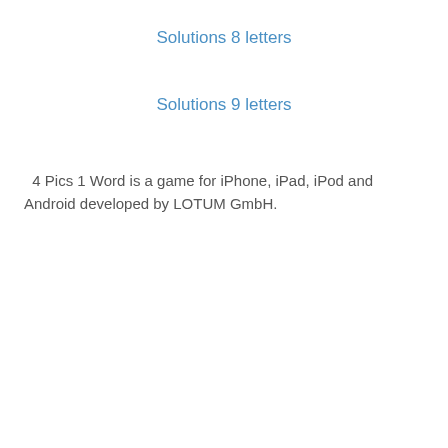Solutions 8 letters
Solutions 9 letters
4 Pics 1 Word is a game for iPhone, iPad, iPod and Android developed by LOTUM GmbH.